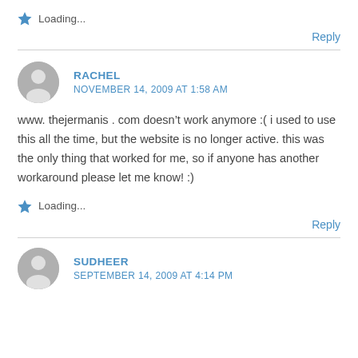Loading...
Reply
RACHEL
NOVEMBER 14, 2009 AT 1:58 AM
www. thejermanis . com doesn’t work anymore :( i used to use this all the time, but the website is no longer active. this was the only thing that worked for me, so if anyone has another workaround please let me know! :)
Loading...
Reply
SUDHEER
SEPTEMBER 14, 2009 AT 4:14 PM